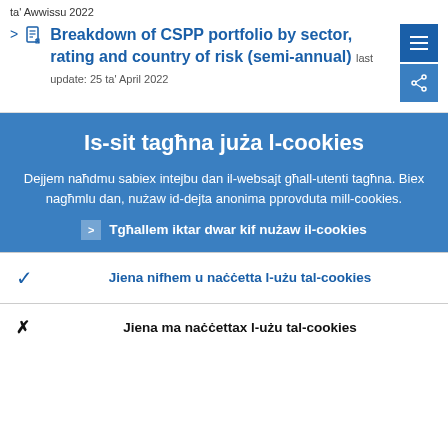ta' Awwissu 2022
Breakdown of CSPP portfolio by sector, rating and country of risk (semi-annual) last update: 25 ta' April 2022
Is-sit tagħna juża l-cookies
Dejjem naħdmu sabiex intejbu dan il-websajt għall-utenti tagħna. Biex nagħmlu dan, nużaw id-dejta anonima pprovduta mill-cookies.
Tgħallem iktar dwar kif nużaw il-cookies
Jiena nifhem u naċċetta l-użu tal-cookies
Jiena ma naċċettax l-użu tal-cookies